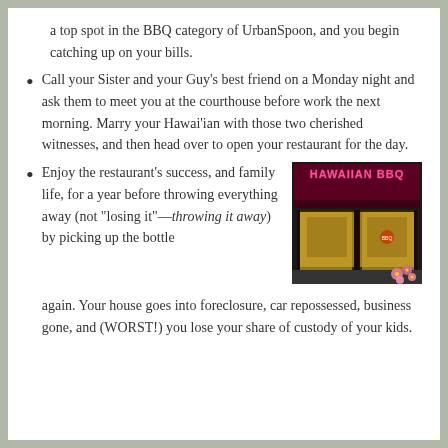a top spot in the BBQ category of UrbanSpoon, and you begin catching up on your bills.
Call your Sister and your Guy's best friend on a Monday night and ask them to meet you at the courthouse before work the next morning. Marry your Hawai'ian with those two cherished witnesses, and then head over to open your restaurant for the day.
Enjoy the restaurant's success, and family life, for a year before throwing everything away (not "losing it"—throwing it away) by picking up the bottle again. Your house goes into foreclosure, car repossessed, business gone, and (WORST!) you lose your share of custody of your kids.
[Figure (photo): A Hawaiian BBQ restaurant storefront at night with illuminated sign reading 'HAWAIIAN BBQ' in pink/red letters, showing glass doors and interior lighting, with pink flowers in lower right corner.]